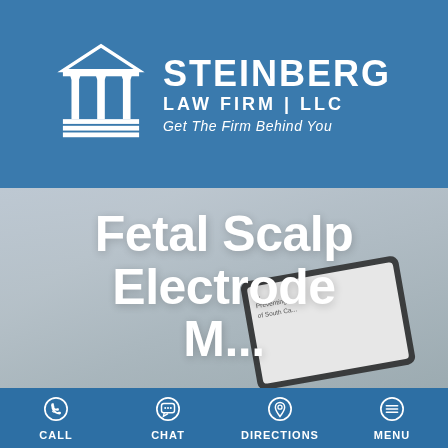[Figure (logo): Steinberg Law Firm LLC logo with courthouse columns icon. Text: STEINBERG LAW FIRM | LLC, Get The Firm Behind You]
Fetal Scalp Electrode Monitoring
[Figure (screenshot): Blurred background image showing a tablet/document with partially visible South Carolina legal text]
CALL   CHAT   DIRECTIONS   MENU